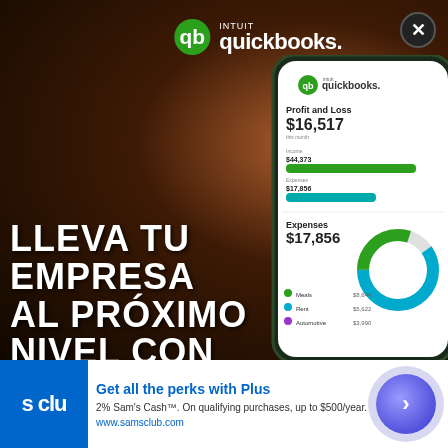[Figure (photo): QuickBooks advertisement showing a phone with Profit and Loss dashboard displaying $16,517, Expenses $17,856 with bar charts and donut chart. Background is dark restaurant/bar setting. Person holding phone. Text overlay reads 'LLEVA TU EMPRESA AL PRÓXIMO NIVEL CON FINANZAS CONFIABLES Y BIEN' in large white bold uppercase letters. QuickBooks logo at top center. Close button top right.]
LLEVA TU EMPRESA AL PRÓXIMO NIVEL CON FINANZAS CONFIABLES Y BIEN
[Figure (screenshot): Sam's Club advertisement banner at bottom: blue square logo with 's clu' text, 'Get all the perks with Plus' headline in blue, '2% Sam's Cash™. On qualifying purchases, up to $500/year.' description, 'www.samsclub.com' URL, and purple circular arrow button on right. Small X close button and Ads label at top right of banner.]
Get all the perks with Plus
2% Sam's Cash™. On qualifying purchases, up to $500/year.
www.samsclub.com